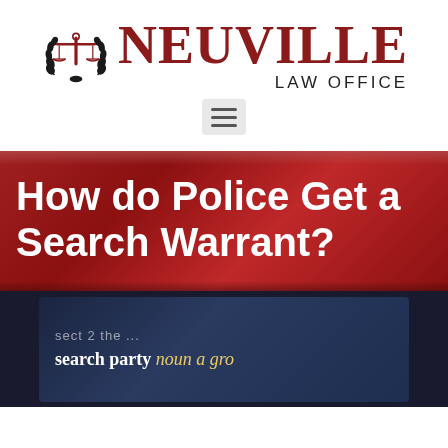[Figure (logo): Neuville Law Office logo with scales of justice emblem and laurel wreath, dark red serif NEUVILLE text, LAW OFFICE subtitle in sans-serif]
[Figure (other): Hamburger menu button (three horizontal lines on light grey background)]
How do Police Get a Search Warrant?
[Figure (photo): Dark blue/navy dictionary page showing the words 'search party' in bold followed by 'noun a gro' (truncated), with partial blurred text above]